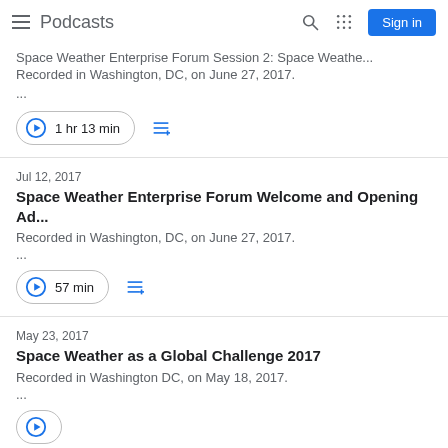Podcasts
Space Weather Enterprise Forum Session 2: Space Weath...
Recorded in Washington, DC, on June 27, 2017.
...
1 hr 13 min
Jul 12, 2017
Space Weather Enterprise Forum Welcome and Opening Ad...
Recorded in Washington, DC, on June 27, 2017.
...
57 min
May 23, 2017
Space Weather as a Global Challenge 2017
Recorded in Washington DC, on May 18, 2017.
...